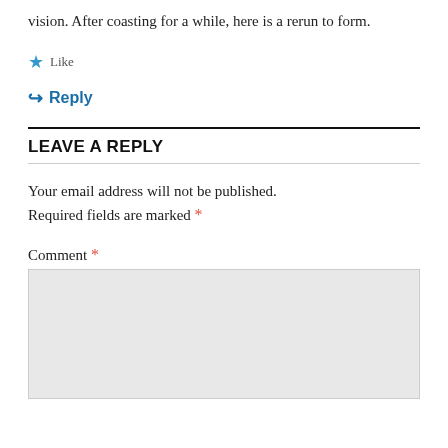vision. After coasting for a while, here is a rerun to form.
★ Like
↪ Reply
LEAVE A REPLY
Your email address will not be published. Required fields are marked *
Comment *